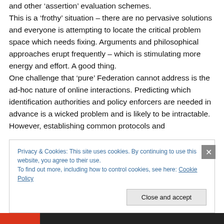and other 'assertion' evaluation schemes. This is a 'frothy' situation – there are no pervasive solutions and everyone is attempting to locate the critical problem space which needs fixing. Arguments and philosophical approaches erupt frequently – which is stimulating more energy and effort. A good thing. One challenge that 'pure' Federation cannot address is the ad-hoc nature of online interactions. Predicting which identification authorities and policy enforcers are needed in advance is a wicked problem and is likely to be intractable. However, establishing common protocols and
Privacy & Cookies: This site uses cookies. By continuing to use this website, you agree to their use.
To find out more, including how to control cookies, see here: Cookie Policy
Close and accept